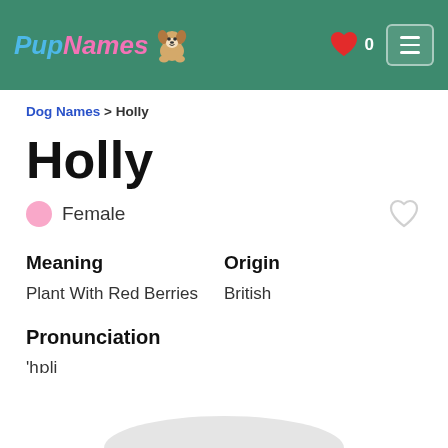PupNames [logo with dog cartoon] ❤ 0 [menu button]
Dog Names > Holly
Holly
Female
Meaning
Origin
Plant With Red Berries
British
Pronunciation
'hɒli